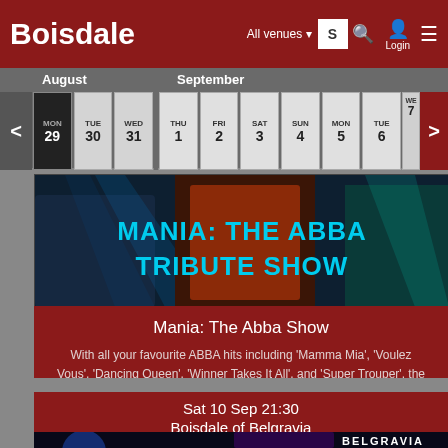BOISDALE — All venues — Login
| MON | TUE | WED | THU | FRI | SAT | SUN | MON | TUE | WED |
| --- | --- | --- | --- | --- | --- | --- | --- | --- | --- |
| 29 | 30 | 31 | 1 | 2 | 3 | 4 | 5 | 6 | 7 |
[Figure (photo): Mania: The ABBA Tribute Show banner image with performers in colorful costumes and blue/teal lighting with large cyan text overlay]
Mania: The Abba Show
With all your favourite ABBA hits including 'Mamma Mia', 'Voulez Vous', 'Dancing Queen', 'Winner Takes It All', and 'Super Trouper', the world's number one touring
INFO * VIDEO * BUY TICKETS
Sat 10 Sep 21:30
Boisdale of Belgravia
[Figure (photo): Dark background image with blue circular light and purple streaks, with BELGRAVIA text in white bold letters at bottom right]